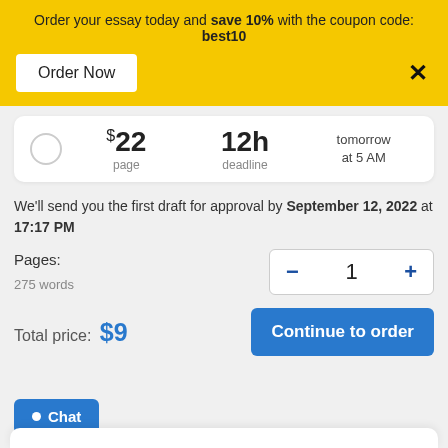Order your essay today and save 10% with the coupon code: best10
Order Now
× (close button)
$22 per page, 12h deadline, tomorrow at 5 AM
We'll send you the first draft for approval by September 12, 2022 at 17:17 PM
Pages:
275 words
- 1 +
Total price: $9
Continue to order
Chat